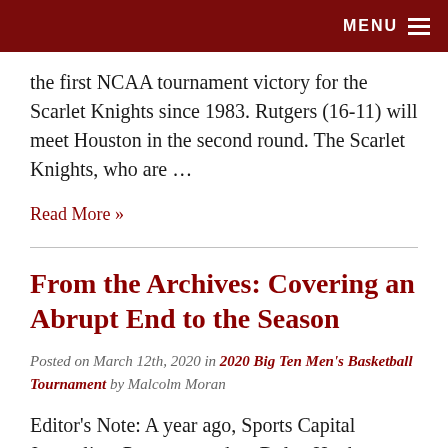MENU
the first NCAA tournament victory for the Scarlet Knights since 1983. Rutgers (16-11) will meet Houston in the second round. The Scarlet Knights, who are …
Read More »
From the Archives: Covering an Abrupt End to the Season
Posted on March 12th, 2020 in 2020 Big Ten Men's Basketball Tournament by Malcolm Moran
Editor's Note: A year ago, Sports Capital Journalism Program student Dylan Hughes was assigned to cover the Big Ten Men's Basketball Tournament. On